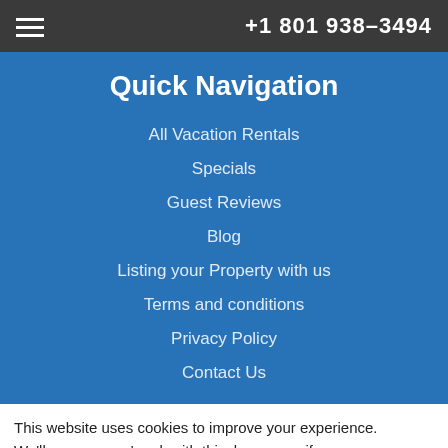+1 801 938-3494
Quick Navigation
All Vacation Rentals
Specials
Guest Reviews
Blog
Listing your Property with us
Terms and conditions
Privacy Policy
Contact Us
This website uses cookies to improve your experience. We'll assume you're ok with this, b    or   if
English
Reject
Read More
Ask us